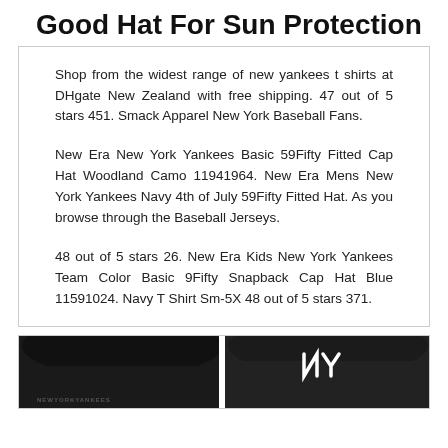Good Hat For Sun Protection
Shop from the widest range of new yankees t shirts at DHgate New Zealand with free shipping. 47 out of 5 stars 451. Smack Apparel New York Baseball Fans.
New Era New York Yankees Basic 59Fifty Fitted Cap Hat Woodland Camo 11941964. New Era Mens New York Yankees Navy 4th of July 59Fifty Fitted Hat. As you browse through the Baseball Jerseys.
48 out of 5 stars 26. New Era Kids New York Yankees Team Color Basic 9Fifty Snapback Cap Hat Blue 11591024. Navy T Shirt Sm-5X 48 out of 5 stars 371.
[Figure (photo): Two black New York Yankees caps shown from the front, one with 'NEWYORKYANKEES' text visible on the brim area, and the other showing the NY logo in white on a dark cap.]